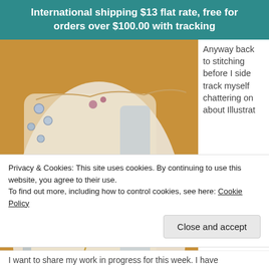International shipping $13 flat rate, free for orders over $100.00 with tracking
[Figure (photo): Close-up photograph of intricate crazy quilt embroidery with lace, silk ribbon flowers, blue embroidered flowers, beads, buttons, and a small cameo brooch on tan fabric. Watermark: http://pintangle.com]
Anyway back to stitching before I side track myself chattering on about Illustrat
Privacy & Cookies: This site uses cookies. By continuing to use this website, you agree to their use.
To find out more, including how to control cookies, see here: Cookie Policy
Close and accept
I want to share my work in progress for this week. I have